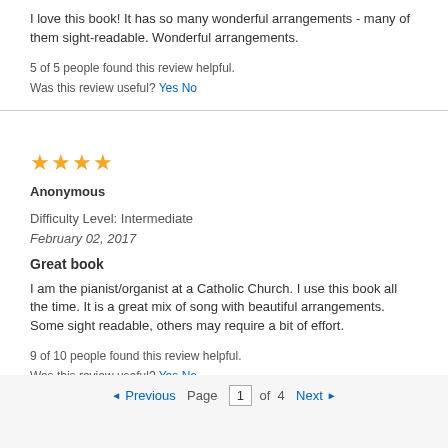I love this book! It has so many wonderful arrangements - many of them sight-readable. Wonderful arrangements.
5 of 5 people found this review helpful.
Was this review useful? Yes No
[Figure (other): 4 orange star rating icons]
Anonymous
Difficulty Level: Intermediate
February 02, 2017
Great book
I am the pianist/organist at a Catholic Church. I use this book all the time. It is a great mix of song with beautiful arrangements. Some sight readable, others may require a bit of effort.
9 of 10 people found this review helpful.
Was this review useful? Yes No
◄Previous  Page  1  of  4  Next►